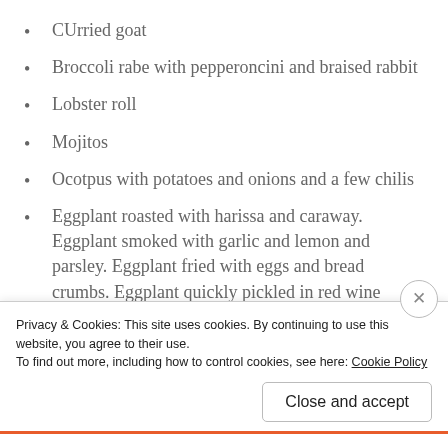CUrried goat
Broccoli rabe with pepperoncini and braised rabbit
Lobster roll
Mojitos
Ocotpus with potatoes and onions and a few chilis
Eggplant roasted with harissa and caraway. Eggplant smoked with garlic and lemon and parsley. Eggplant fried with eggs and bread crumbs. Eggplant quickly pickled in red wine vinegar and green onions.
Privacy & Cookies: This site uses cookies. By continuing to use this website, you agree to their use.
To find out more, including how to control cookies, see here: Cookie Policy
Close and accept